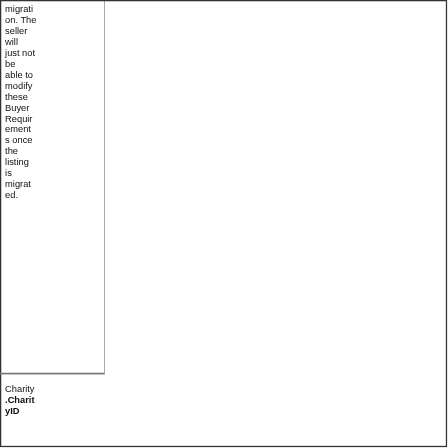migration. The seller will just not be able to modify these Buyer Requirements once the listing is migrated.
Charity.CharityID